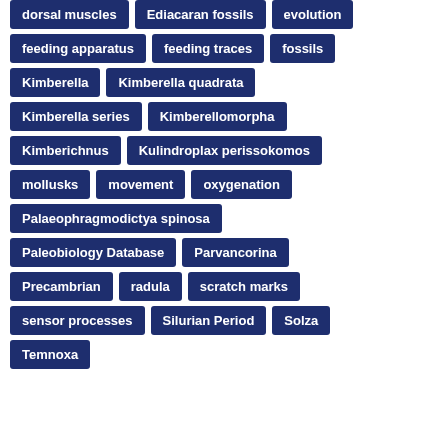dorsal muscles
Ediacaran fossils
evolution
feeding apparatus
feeding traces
fossils
Kimberella
Kimberella quadrata
Kimberella series
Kimberellomorpha
Kimberichnus
Kulindroplax perissokomos
mollusks
movement
oxygenation
Palaeophragmodictya spinosa
Paleobiology Database
Parvancorina
Precambrian
radula
scratch marks
sensor processes
Silurian Period
Solza
Temnoxa